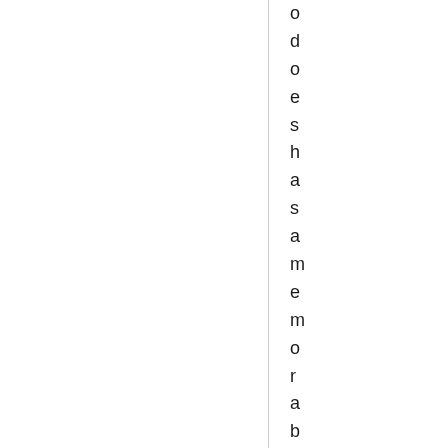odoes has a memorable time with old f